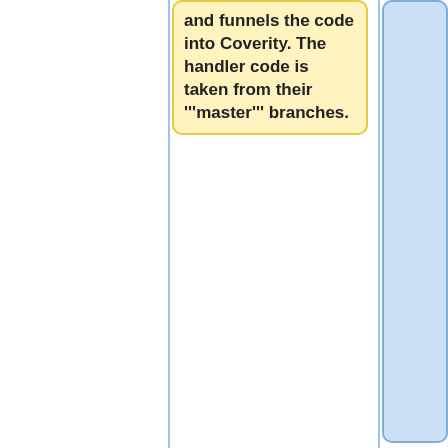[Figure (flowchart): Flowchart diagram showing two columns of nodes. Left column contains yellow boxes with bold text describing git workflow steps. Right column contains blue boxes with protocol/code details. Vertical blue lines separate columns. Minus and plus connector symbols between boxes.]